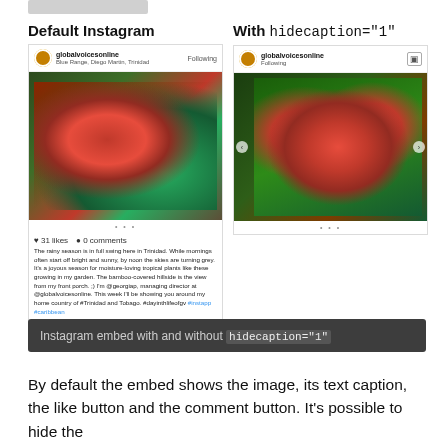Default Instagram
[Figure (screenshot): Screenshot of a default Instagram embed showing a photo of red flowers and tropical plants by globalvoicesonline, with like count (31 likes), 0 comments, a text caption about the rainy season in Trinidad, and a JUNE 14 timestamp.]
With hidecaption="1"
[Figure (screenshot): Screenshot of an Instagram embed with hidecaption="1" showing a photo of red berries on green leaves by globalvoicesonline, without the caption, like button, or comment button — just the image and navigation arrows.]
Instagram embed with and without hidecaption="1"
By default the embed shows the image, its text caption, the like button and the comment button. It's possible to hide the